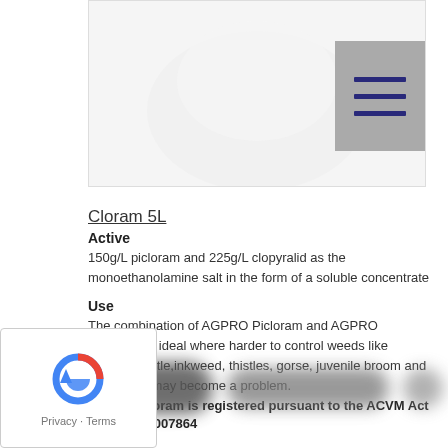[Figure (photo): Product image of Cloram 5L bottle, partially visible, white/clear container with blurred background. Menu/hamburger icon in top right corner with three horizontal lines.]
Cloram 5L
Active
150g/L picloram and 225g/L clopyralid as the monoethanolamine salt in the form of a soluble concentrate
Use
The combination of AGPRO Picloram and AGPRO Clopyralidis ideal where harder to control weeds like ragwort, nettle,inkweed, thistles, gorse, juvenile broom and blackberry may become a problem.
AGPRO Cloram is registered pursuant to the ACVM Act 1997, No.P007864
[Figure (other): Blurred footer area with obscured logos/icons]
[Figure (other): reCAPTCHA badge with Privacy and Terms links]